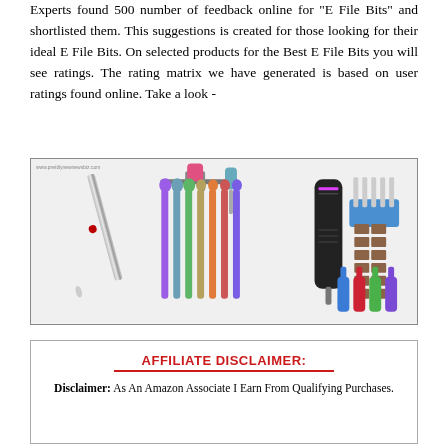Experts found 500 number of feedback online for "E File Bits" and shortlisted them. This suggestions is created for those looking for their ideal E File Bits. On selected products for the Best E File Bits you will see ratings. The rating matrix we have generated is based on user ratings found online. Take a look -
[Figure (photo): Product image showing various e-file nail drill bits including a metallic twist bit, a pink and blue sanding bit set, colorful rainbow-finish assorted nail drill bits, a black electric nail drill machine, blue nail bit holders, brown sanding bands, and colorful blue/red/green nail bits.]
AFFILIATE DISCLAIMER: Disclaimer: As An Amazon Associate I Earn From Qualifying Purchases.